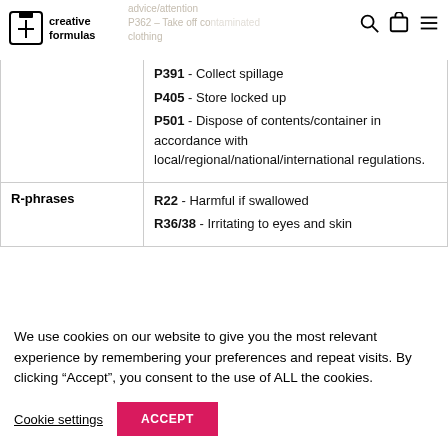creative formulas
advice/attention P362 – Take off contaminated clothing
|  |  |
| --- | --- |
|  | P391 - Collect spillage
P405 - Store locked up
P501 - Dispose of contents/container in accordance with local/regional/national/international regulations. |
| R-phrases | R22 - Harmful if swallowed
R36/38 - Irritating to eyes and skin |
We use cookies on our website to give you the most relevant experience by remembering your preferences and repeat visits. By clicking “Accept”, you consent to the use of ALL the cookies.